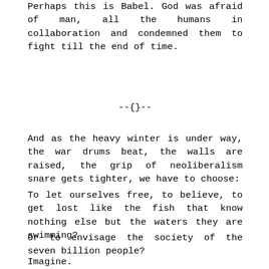Perhaps this is Babel. God was afraid of man, all the humans in collaboration and condemned them to fight till the end of time.
--{}--
And as the heavy winter is under way, the war drums beat, the walls are raised, the grip of neoliberalism snare gets tighter, we have to choose:
To let ourselves free, to believe, to get lost like the fish that know nothing else but the waters they are swimming?
Or to envisage the society of the seven billion people?
Imagine.
Imagination is the authority's greatest enemy – no matter